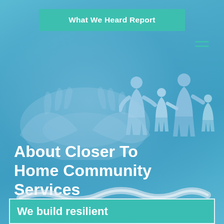What We Heard Report
[Figure (illustration): Paper chain cut-out family silhouettes (adults and children holding hands) on a blue background, overlaid on cupped hands photo]
About Closer To Home Community Services
[Figure (illustration): Decorative white ribbon/wave divider]
We build resilient